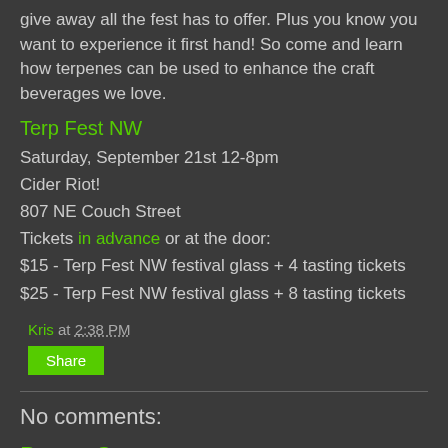give away all the fest has to offer. Plus you know you want to experience it first hand! So come and learn how terpenes can be used to enhance the craft beverages we love.
Terp Fest NW
Saturday, September 21st 12-8pm
Cider Riot!
807 NE Couch Street
Tickets in advance or at the door:
$15 - Terp Fest NW festival glass + 4 tasting tickets
$25 - Terp Fest NW festival glass + 8 tasting tickets
Kris at 2:38 PM
Share
No comments:
Post a Comment